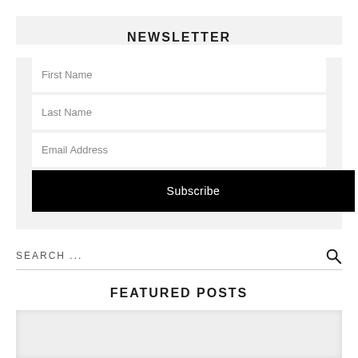NEWSLETTER
First Name
Last Name
Email Address
Subscribe
SEARCH ...
FEATURED POSTS
[Figure (other): Featured posts image placeholder with light gray background]